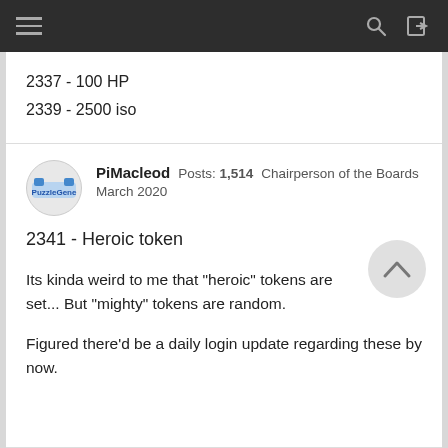2337 - 100 HP
2339 - 2500 iso
PiMacleod  Posts: 1,514  Chairperson of the Boards
March 2020
2341 - Heroic token
Its kinda weird to me that "heroic" tokens are set... But "mighty" tokens are random.
Figured there'd be a daily login update regarding these by now.